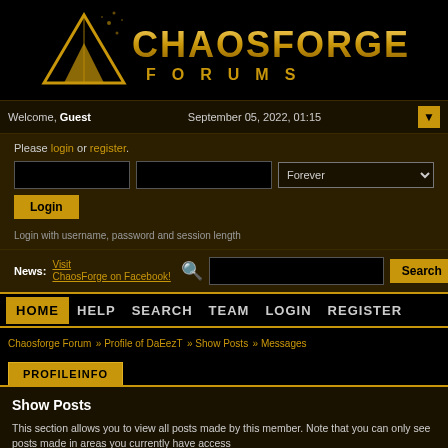[Figure (logo): ChaosForge Forums logo — gold text on black background with a triangular geometric emblem]
Welcome, Guest
September 05, 2022, 01:15
Please login or register.
Login with username, password and session length
News: Visit ChaosForge on Facebook!
HOME  HELP  SEARCH  TEAM  LOGIN  REGISTER
Chaosforge Forum » Profile of DaEezT » Show Posts » Messages
PROFILEINFO
Show Posts
This section allows you to view all posts made by this member. Note that you can only see posts made in areas you currently have access to.